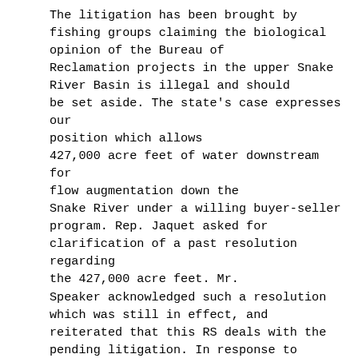The litigation has been brought by fishing groups claiming the biological opinion of the Bureau of Reclamation projects in the upper Snake River Basin is illegal and should be set aside. The state's case expresses our position which allows 427,000 acre feet of water downstream for flow augmentation down the Snake River under a willing buyer-seller program. Rep. Jaquet asked for clarification of a past resolution regarding the 427,000 acre feet. Mr. Speaker acknowledged such a resolution which was still in effect, and reiterated that this RS deals with the pending litigation. In response to Rep. Jaquet's questions regarding consultations with other groups, Mr. Speaker stated that those who met this summer could not reach consensus regarding the lawsuit nor does the RS interfere with